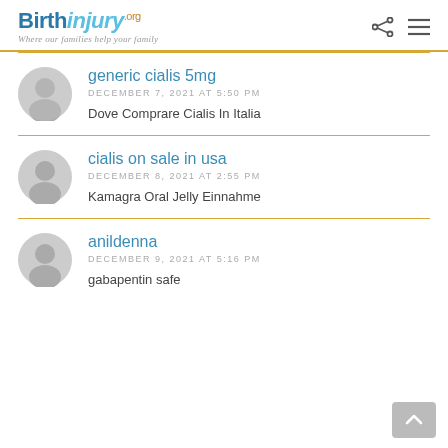BirthInjury.org — Where our families help your family
generic cialis 5mg
DECEMBER 7, 2021 AT 5:50 PM
Dove Comprare Cialis In Italia
cialis on sale in usa
DECEMBER 8, 2021 AT 2:55 PM
Kamagra Oral Jelly Einnahme
anildenna
DECEMBER 9, 2021 AT 5:16 PM
gabapentin safe